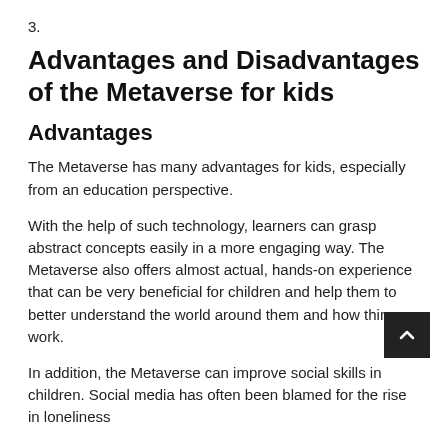3.
Advantages and Disadvantages of the Metaverse for kids
Advantages
The Metaverse has many advantages for kids, especially from an education perspective.
With the help of such technology, learners can grasp abstract concepts easily in a more engaging way. The Metaverse also offers almost actual, hands-on experience that can be very beneficial for children and help them to better understand the world around them and how things work.
In addition, the Metaverse can improve social skills in children. Social media has often been blamed for the rise in loneliness